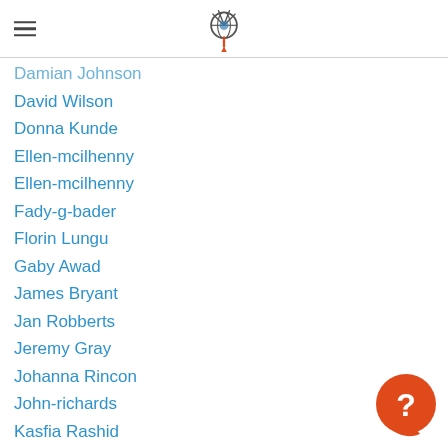[Logo: WiFi globe icon with orange beacon]
Damian Johnson
David Wilson
Donna Kunde
Ellen-mcilhenny
Ellen-mcilhenny
Fady-g-bader
Florin Lungu
Gaby Awad
James Bryant
Jan Robberts
Jeremy Gray
Johanna Rincon
John-richards
Kasfia Rashid
Kevin Beers
Laura Bell
Lisa Askwith
Londina Cruz